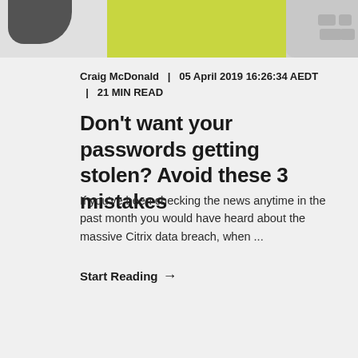[Figure (photo): Partial image strip at top showing a dark blurred object on the left, a yellow-green surface in the middle, and a keyboard on the right]
Craig McDonald  |  05 April 2019 16:26:34 AEDT  |  21 MIN READ
Don't want your passwords getting stolen? Avoid these 3 mistakes
If you've been checking the news anytime in the past month you would have heard about the massive Citrix data breach, when ...
Start Reading →